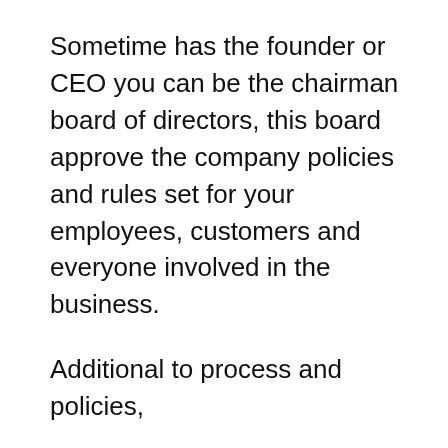Sometime has the founder or CEO you can be the chairman board of directors, this board approve the company policies and rules set for your employees, customers and everyone involved in the business.
Additional to process and policies,
There must be hierarchy. Draw or design the company Organogram, let the organogram shows hierarchy and there must be roles, responsibilities, right and obligations distributed to everyone on the hierarchy so that when things goes wrong you can know who to take responsible for what. Everyone in the company knows who is responsible for what, this how process is done